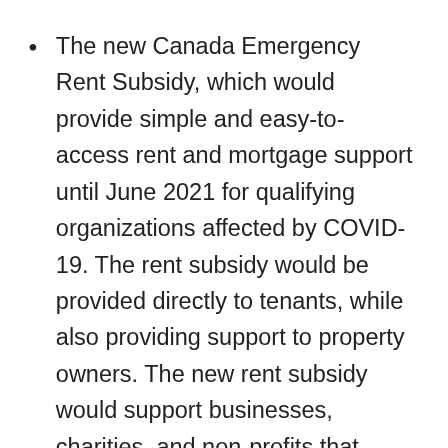The new Canada Emergency Rent Subsidy, which would provide simple and easy-to-access rent and mortgage support until June 2021 for qualifying organizations affected by COVID-19. The rent subsidy would be provided directly to tenants, while also providing support to property owners. The new rent subsidy would support businesses, charities, and non-profits that have suffered a revenue drop, by subsidizing a percentage of their expenses, on a sliding scale, up to a maximum of 65 per cent of eligible expenses until December